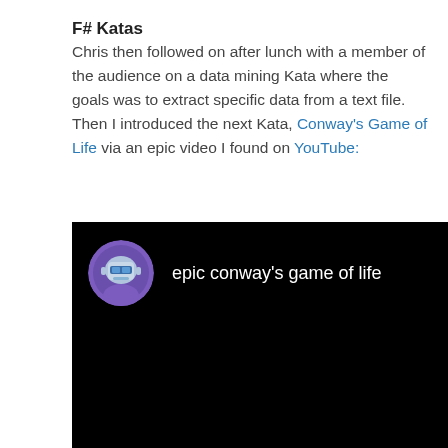F# Katas
Chris then followed on after lunch with a member of the audience on a data mining Kata where the goals was to extract specific data from a text file. Then I introduced the next Kata, Conway's Game of Life via an epic video I found on YouTube:
[Figure (screenshot): Embedded YouTube video player showing 'epic conway's game of life' with a robot avatar thumbnail, black background]